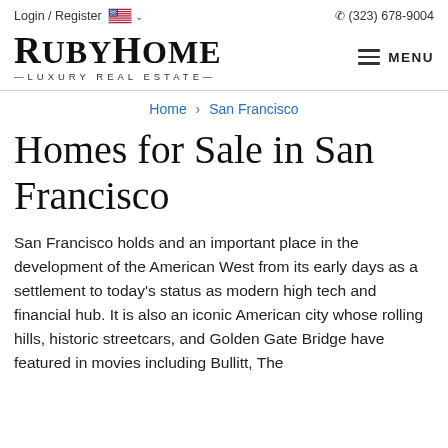Login / Register  (323) 678-9004
RUBYHOME — LUXURY REAL ESTATE — MENU
Home > San Francisco
Homes for Sale in San Francisco
San Francisco holds and an important place in the development of the American West from its early days as a settlement to today's status as modern high tech and financial hub. It is also an iconic American city whose rolling hills, historic streetcars, and Golden Gate Bridge have featured in movies including Bullitt, The